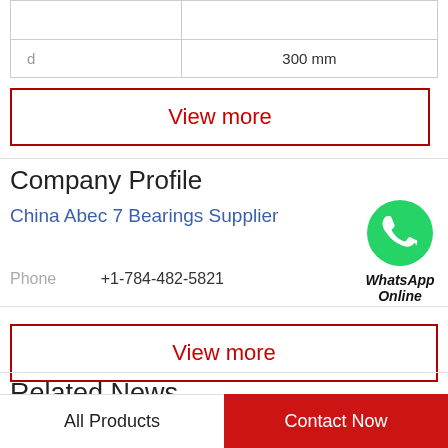|  |  |
| d | 300 mm |
View more
Company Profile
China Abec 7 Bearings Supplier
[Figure (illustration): WhatsApp Online green phone icon with text 'WhatsApp Online']
Phone +1-784-482-5821
View more
Related News
All Products   Contact Now